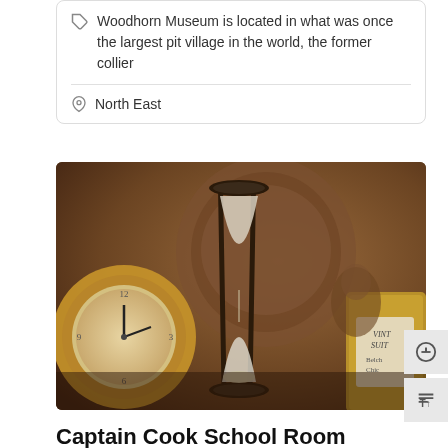Woodhorn Museum is located in what was once the largest pit village in the world, the former collier
North East
[Figure (photo): Sepia-toned photograph of antique clocks and an hourglass arranged together, including a pocket watch and ornate mantel clocks.]
Captain Cook School Room Museum